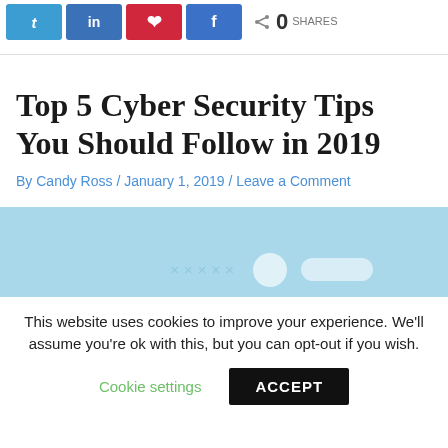Social share buttons: Twitter, LinkedIn, Pinterest, Facebook — 0 SHARES
Top 5 Cyber Security Tips You Should Follow in 2019
By Candy Ross / January 1, 2019 / Leave a Comment
[Figure (illustration): Light blue hero image with decorative elements: x marks, a white circle, and a white pill/button shape]
This website uses cookies to improve your experience. We'll assume you're ok with this, but you can opt-out if you wish.
Cookie settings   ACCEPT